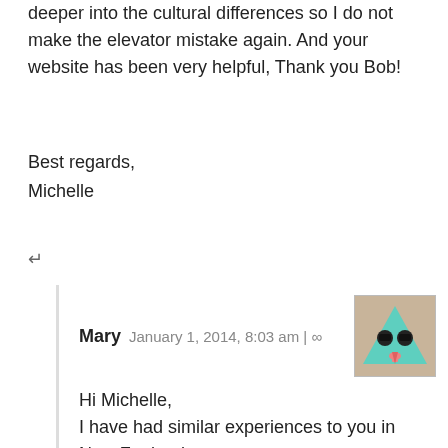deeper into the cultural differences so I do not make the elevator mistake again. And your website has been very helpful, Thank you Bob!
Best regards,
Michelle
↵
Mary January 1, 2014, 8:03 am | ∞
[Figure (illustration): Avatar image of a cartoon triangular face character with sunglasses on a brown/tan background]
Hi Michelle,
I have had similar experiences to you in New Zealand. I am American and thinking of moving back to the STates because of the anti-American feeling I have encountered here.
Mary